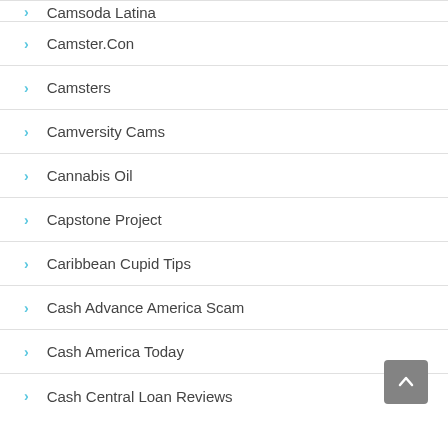Camsoda Latina
Camster.Con
Camsters
Camversity Cams
Cannabis Oil
Capstone Project
Caribbean Cupid Tips
Cash Advance America Scam
Cash America Today
Cash Central Loan Reviews